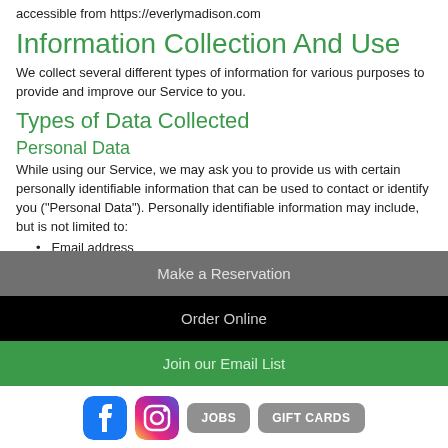accessible from https://everlymadison.com
Information Collection And Use
We collect several different types of information for various purposes to provide and improve our Service to you.
Types of Data Collected
Personal Data
While using our Service, we may ask you to provide us with certain personally identifiable information that can be used to contact or identify you (“Personal Data”). Personally identifiable information may include, but is not limited to:
Email address
Make a Reservation
Order Online
Join our Email List